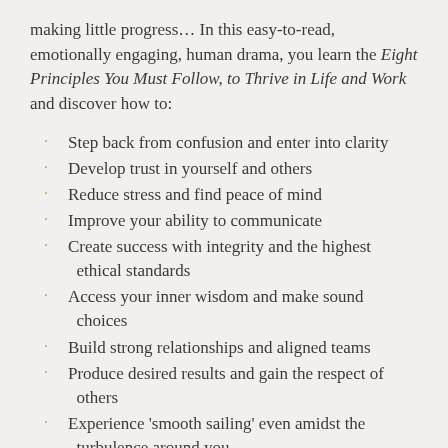making little progress… In this easy-to-read, emotionally engaging, human drama, you learn the Eight Principles You Must Follow, to Thrive in Life and Work and discover how to:
Step back from confusion and enter into clarity
Develop trust in yourself and others
Reduce stress and find peace of mind
Improve your ability to communicate
Create success with integrity and the highest ethical standards
Access your inner wisdom and make sound choices
Build strong relationships and aligned teams
Produce desired results and gain the respect of others
Experience 'smooth sailing' even amidst the turbulence around you
Through this intriguing corporate tale, you will be captivated by the experiences of four characters who, in a few life-changing days with Martha—the enigmatic